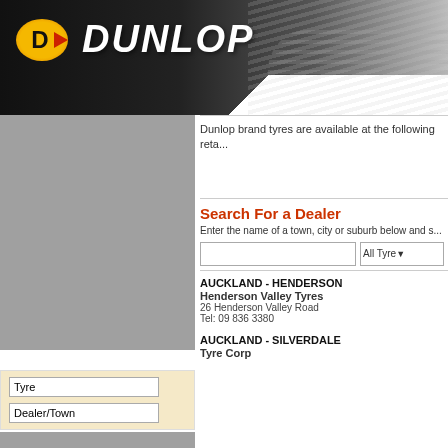[Figure (logo): Dunlop brand logo with yellow/orange D emblem and white italic DUNLOP text on black banner background with tyre tread pattern]
[Figure (photo): Grey sidebar image placeholder block]
Dunlop brand tyres are available at the following retailers:
Search For a Dealer
Enter the name of a town, city or suburb below and s...
AUCKLAND - HENDERSON
Henderson Valley Tyres
26 Henderson Valley Road
Tel: 09 836 3380
AUCKLAND - SILVERDALE
Tyre Corp